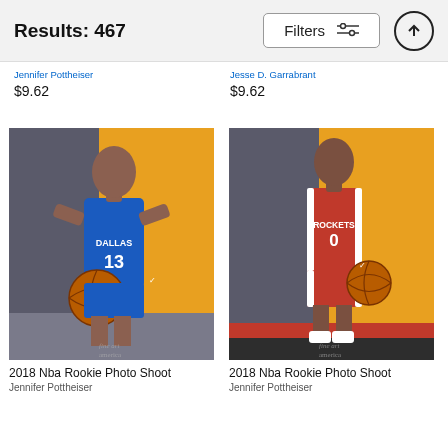Results: 467
Filters
Jennifer Pottheiser
$9.62
Jesse D. Garrabrant
$9.62
[Figure (photo): NBA player in Dallas Mavericks blue jersey #13 holding a Spalding basketball, against a dark grey and yellow background. Fine Art America watermark visible.]
[Figure (photo): NBA player in Houston Rockets red jersey #0 holding a basketball, standing against a dark grey and yellow background. Fine Art America watermark visible.]
2018 Nba Rookie Photo Shoot
Jennifer Pottheiser
2018 Nba Rookie Photo Shoot
Jennifer Pottheiser